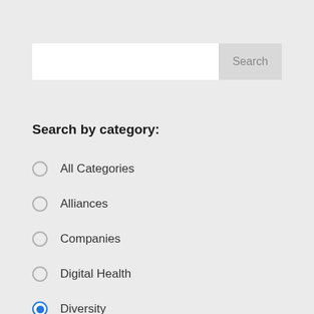[Figure (screenshot): Search input field with a 'Search' button on the right]
Search by category:
All Categories
Alliances
Companies
Digital Health
Diversity (selected)
Education